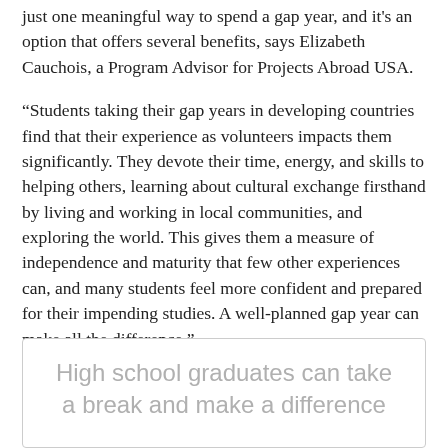just one meaningful way to spend a gap year, and it's an option that offers several benefits, says Elizabeth Cauchois, a Program Advisor for Projects Abroad USA.
“Students taking their gap years in developing countries find that their experience as volunteers impacts them significantly. They devote their time, energy, and skills to helping others, learning about cultural exchange firsthand by living and working in local communities, and exploring the world. This gives them a measure of independence and maturity that few other experiences can, and many students feel more confident and prepared for their impending studies. A well-planned gap year can make all the difference.”
High school graduates can take a break and make a difference